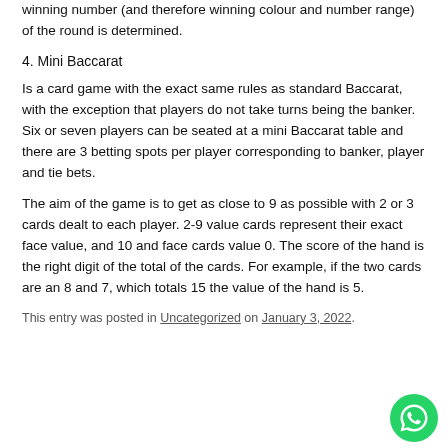winning number (and therefore winning colour and number range) of the round is determined.
4. Mini Baccarat
Is a card game with the exact same rules as standard Baccarat, with the exception that players do not take turns being the banker. Six or seven players can be seated at a mini Baccarat table and there are 3 betting spots per player corresponding to banker, player and tie bets.
The aim of the game is to get as close to 9 as possible with 2 or 3 cards dealt to each player. 2-9 value cards represent their exact face value, and 10 and face cards value 0. The score of the hand is the right digit of the total of the cards. For example, if the two cards are an 8 and 7, which totals 15 the value of the hand is 5.
This entry was posted in Uncategorized on January 3, 2022.
[Figure (logo): WhatsApp button icon — green circle with white phone handset]